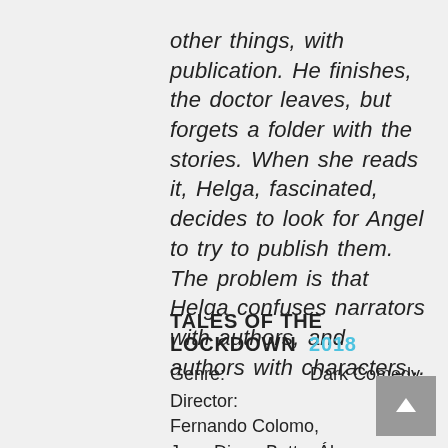other things, with publication. He finishes, the doctor leaves, but forgets a folder with the stories. When she reads it, Helga, fascinated, decides to look for Angel to try to publish them. The problem is that Helga confuses narrators with authors, and authors with characters...
TALES OF THE LOCKDOWN 2018
Genre: Dark Comedy
Director: Fernando Colomo, Juan Diego Botto, Álvaro Fernández-Armero, Miguel Bardem, David Marqués